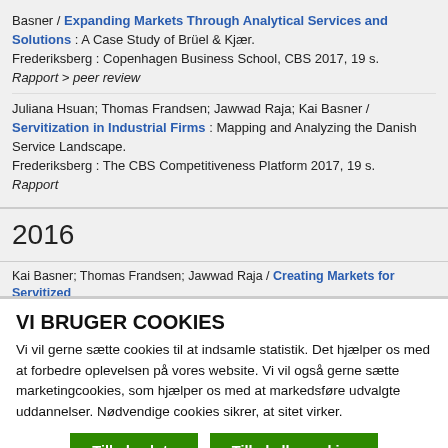Basner / Expanding Markets Through Analytical Services and Solutions : A Case Study of Brüel & Kjær. Frederiksberg : Copenhagen Business School, CBS 2017, 19 s. Rapport > peer review
Juliana Hsuan; Thomas Frandsen; Jawwad Raja; Kai Basner / Servitization in Industrial Firms : Mapping and Analyzing the Danish Service Landscape. Frederiksberg : The CBS Competitiveness Platform 2017, 19 s. Rapport
2016
Kai Basner; Thomas Frandsen; Jawwad Raja / Creating Markets for Servitized
VI BRUGER COOKIES
Vi vil gerne sætte cookies til at indsamle statistik. Det hjælper os med at forbedre oplevelsen på vores website. Vi vil også gerne sætte marketingcookies, som hjælper os med at markedsføre udvalgte uddannelser. Nødvendige cookies sikrer, at sitet virker.
Tillad valgte | Tillad alle cookies
☑ Nødvendig  ☐ Præferencer  ☐ Statistik  ☐ Marketing  Vis detaljer